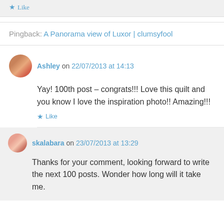Like
Pingback: A Panorama view of Luxor | clumsyfool
Ashley on 22/07/2013 at 14:13
Yay! 100th post – congrats!!! Love this quilt and you know I love the inspiration photo!! Amazing!!!
Like
skalabara on 23/07/2013 at 13:29
Thanks for your comment, looking forward to write the next 100 posts. Wonder how long will it take me.